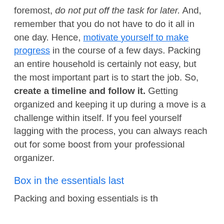foremost, do not put off the task for later. And, remember that you do not have to do it all in one day. Hence, motivate yourself to make progress in the course of a few days. Packing an entire household is certainly not easy, but the most important part is to start the job. So, create a timeline and follow it. Getting organized and keeping it up during a move is a challenge within itself. If you feel yourself lagging with the process, you can always reach out for some boost from your professional organizer.
Box in the essentials last
Packing and boxing essentials is th...